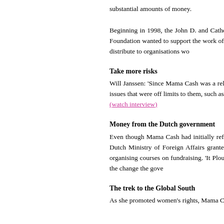substantial amounts of money.
Beginning in 1998, the John D. and Catherine T. MacArthur Foundation gave 200,000 guilders annually (90,000 euros) to Mama Cash for women's groups in the Netherlands for three years. The Ford Foundation wanted to support the work of lesbian women, sex workers, women migrants and refugees in Central and Eastern Europe. The Packard Foundation gave 100,000 guilders (45,000 euros) to Mama Cash to distribute to organisations working on population issues.
Take more risks
Will Janssen: 'Since Mama Cash was a relatively small organisation, it was able to take risks. If something happened to go wrong, any harm to the donors would be minimal. We could fund others to work on issues that were off limits to them, such as sex work and abortion rights. And we established many connections with mainstream funds from which we learned a great deal.'
(watch interview)
Money from the Dutch government
Even though Mama Cash had initially refused to accept government money, board member Ploumen soon decided to change this policy. 'After all, government money belongs to everyone,' she says. In 1999 the Dutch Ministry of Foreign Affairs granted 400,000 guilders to Mama Cash for the Global South. The Ministry of Social Affairs and Employment contributed 250,000 guilders for the Culture Fund and for organising courses on fundraising. 'It wasn't always easy,' Ploumen recalls. 'The government and development organisations were focused on women, but not able to reach those women who could bring about the change the government wanted.'
The trek to the Global South
As she promoted women's rights, Mama Cash had formed alliances